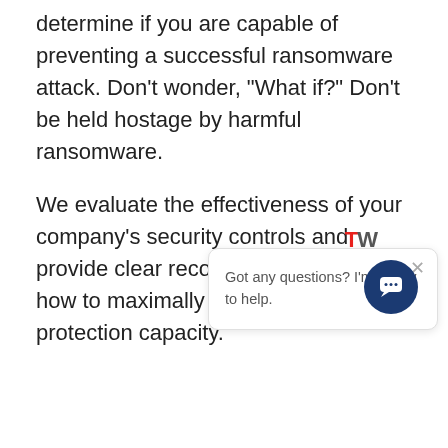determine if you are capable of preventing a successful ransomware attack. Don't wonder, "What if?" Don't be held hostage by harmful ransomware.
We evaluate the effectiveness of your company's security controls and provide clear recommendations on how to maximally improve your cyber protection capacity.
[Figure (screenshot): Chat widget popup with TW logo, close button, and message 'Got any questions? I'm happy to help.' with a dark blue circular chat button in the bottom right corner.]